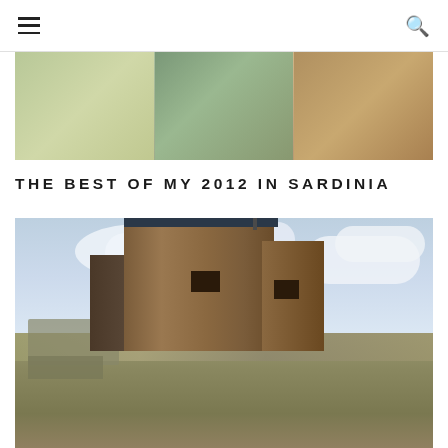[navigation header with menu and search icons]
[Figure (photo): Banner image showing three panels: wild grasses/plants, landscape view with town in distance, rocky/stone texture]
THE BEST OF MY 2012 IN SARDINIA
[Figure (photo): A rustic wooden building/cabin sitting on rocky terrain under a cloudy blue sky in Sardinia]